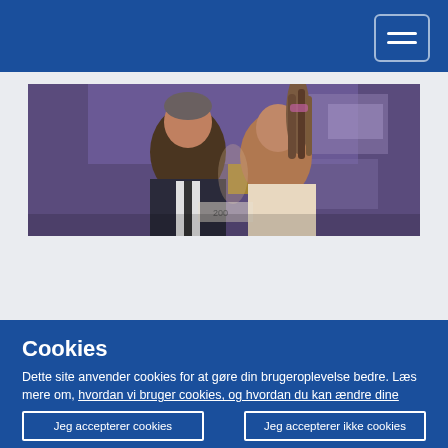Navigation bar with hamburger menu
[Figure (photo): Two people facing each other and smiling at an event, with screens and yellow-accented chairs visible in the background]
Cookies
Dette site anvender cookies for at gøre din brugeroplevelse bedre. Læs mere om, hvordan vi bruger cookies, og hvordan du kan ændre dine indstillinger.
Jeg accepterer cookies
Jeg accepterer ikke cookies